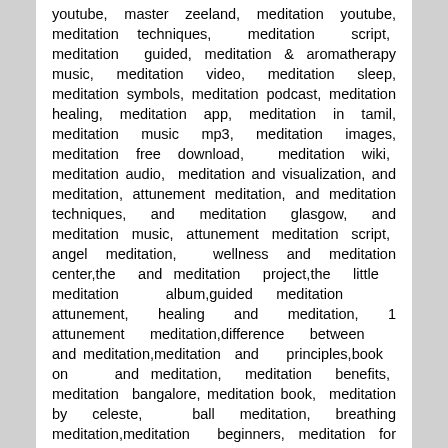youtube, master zeeland, meditation youtube, meditation techniques, meditation script, meditation guided, meditation & aromatherapy music, meditation video, meditation sleep, meditation symbols, meditation podcast, meditation healing, meditation app, meditation in tamil, meditation music mp3, meditation images, meditation free download, meditation wiki, meditation audio, meditation and visualization, and meditation, attunement meditation, and meditation techniques, and meditation glasgow, and meditation music, attunement meditation script, angel meditation, wellness and meditation center,the and meditation project,the little meditation album,guided meditation attunement, healing and meditation, 1 attunement meditation,difference between and meditation,meditation and principles,book on and meditation, meditation benefits, meditation bangalore, meditation book, meditation by celeste, ball meditation, breathing meditation,meditation beginners, meditation for beginners pdf, meditation with bell, golden ball meditation, chakra balancing meditation, meditation music with bell download,meditation before ,meditation before attunement,best meditation,best meditation music,meditation avec bells,ajad meditation 3" bell, meditation classes in bangalore, meditation cho ku rei, meditation cd, meditation circle, meditation chakra,